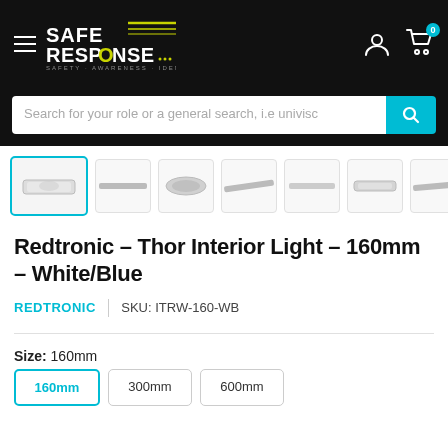Safe Response — Safety · Awareness · Identification
Search for your role or a general search, i.e univisc
[Figure (photo): Thumbnail strip showing 7 product images of the Redtronic Thor Interior Light from different angles; the first thumbnail is selected with a teal border.]
Redtronic – Thor Interior Light – 160mm – White/Blue
REDTRONIC   |   SKU: ITRW-160-WB
Size: 160mm
160mm  300mm  600mm